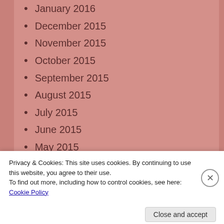January 2016
December 2015
November 2015
October 2015
September 2015
August 2015
July 2015
June 2015
May 2015
April 2015
March 2015
February 2015
Privacy & Cookies: This site uses cookies. By continuing to use this website, you agree to their use. To find out more, including how to control cookies, see here: Cookie Policy
Close and accept